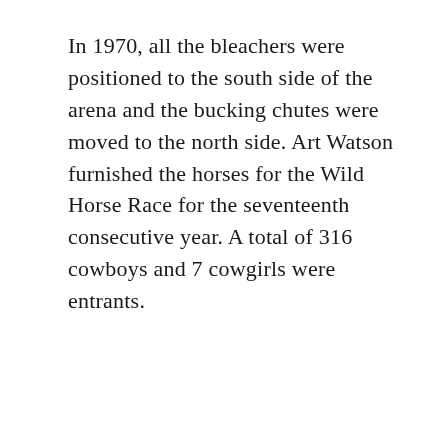In 1970, all the bleachers were positioned to the south side of the arena and the bucking chutes were moved to the north side. Art Watson furnished the horses for the Wild Horse Race for the seventeenth consecutive year. A total of 316 cowboys and 7 cowgirls were entrants.